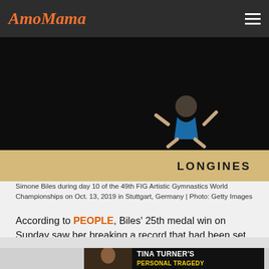AmoMama
[Figure (photo): Simone Biles performing on balance beam, dark background, LONGINES sponsor banner visible on the beam]
Simone Biles during day 10 of the 49th FIG Artistic Gymnastics World Championships on Oct. 13, 2019 in Stuttgart, Germany | Photo: Getty Images
According to PEOPLE, Biles’ 25th medal win on Sunday saw her breaking a record that had been set since the 1990s by male gymnast Vitaly Scherbo to become the most-decorated gymnast at worlds.
ADVERTISEMENT
[Figure (photo): Advertisement banner: Tina Turner's Personal Tragedy - shows woman with large hair next to bold yellow and white text on dark background]